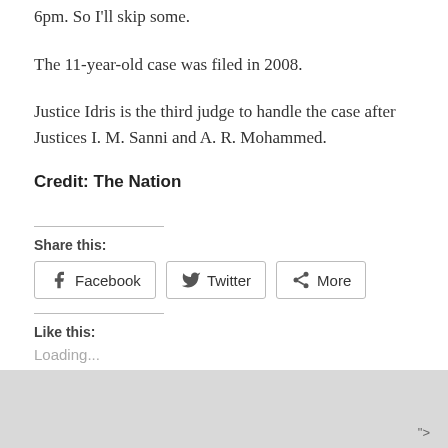6pm. So I'll skip some.
The 11-year-old case was filed in 2008.
Justice Idris is the third judge to handle the case after Justices I. M. Sanni and A. R. Mohammed.
Credit: The Nation
Share this:
Facebook
Twitter
More
Like this:
Loading...
">